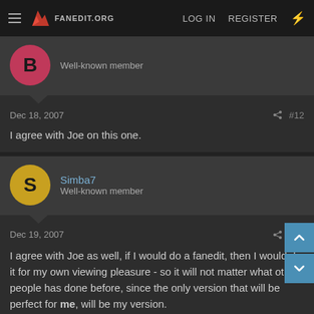FANEDIT.ORG | LOG IN | REGISTER
Well-known member
Dec 18, 2007  #12
I agree with Joe on this one.
Simba7
Well-known member
Dec 19, 2007  #13
I agree with Joe as well, if I would do a fanedit, then I would do it for my own viewing pleasure - so it will not matter what other people has done before, since the only version that will be perfect for me, will be my version.

There are a lot of SW versions out there, but I don't think it will stop would-be editors from doing their own versions.